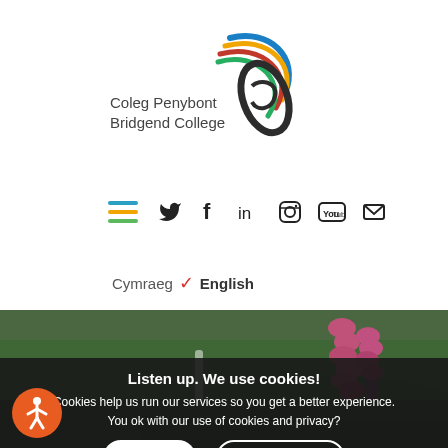[Figure (logo): Coleg Penybont Bridgend College logo with colourful swirl and text]
[Figure (infographic): Navigation bar with hamburger menu icon and social media icons: Twitter, Facebook, LinkedIn, Instagram, YouTube, Email]
Cymraeg ✓ English
[Figure (photo): Scenic Welsh landscape with pink foxglove flowers in foreground, green hills and waterfall in background]
Listen up. We use cookies!
Cookies help us run our services so you get a better experience.
You ok with our use of cookies and privacy?
OK
Learn more